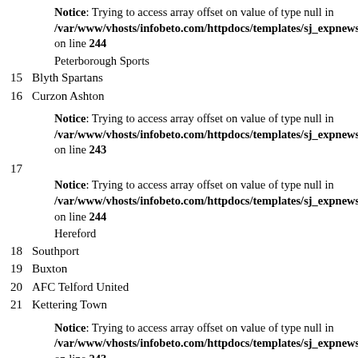Notice: Trying to access array offset on value of type null in /var/www/vhosts/infobeto.com/httpdocs/templates/sj_expnews on line 244
Peterborough Sports
15 Blyth Spartans
16 Curzon Ashton
Notice: Trying to access array offset on value of type null in /var/www/vhosts/infobeto.com/httpdocs/templates/sj_expnews on line 243
17
Notice: Trying to access array offset on value of type null in /var/www/vhosts/infobeto.com/httpdocs/templates/sj_expnews on line 244
Hereford
18 Southport
19 Buxton
20 AFC Telford United
21 Kettering Town
Notice: Trying to access array offset on value of type null in /var/www/vhosts/infobeto.com/httpdocs/templates/sj_expnews on line 243